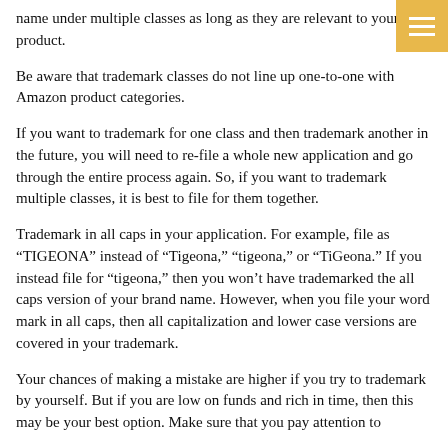name under multiple classes as long as they are relevant to your product.
Be aware that trademark classes do not line up one-to-one with Amazon product categories.
If you want to trademark for one class and then trademark another in the future, you will need to re-file a whole new application and go through the entire process again. So, if you want to trademark multiple classes, it is best to file for them together.
Trademark in all caps in your application. For example, file as “TIGEONA” instead of “Tigeona,” “tigeona,” or “TiGeona.” If you instead file for “tigeona,” then you won’t have trademarked the all caps version of your brand name. However, when you file your word mark in all caps, then all capitalization and lower case versions are covered in your trademark.
Your chances of making a mistake are higher if you try to trademark by yourself. But if you are low on funds and rich in time, then this may be your best option. Make sure that you pay attention to